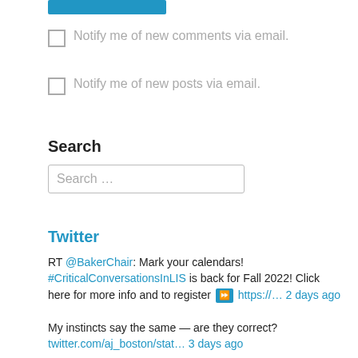[Figure (other): Blue button bar at top]
Notify me of new comments via email.
Notify me of new posts via email.
Search
Search …
Twitter
RT @BakerChair: Mark your calendars! #CriticalConversationsInLIS is back for Fall 2022! Click here for more info and to register ⏩ https://… 2 days ago
My instincts say the same — are they correct? twitter.com/aj_boston/stat… 3 days ago